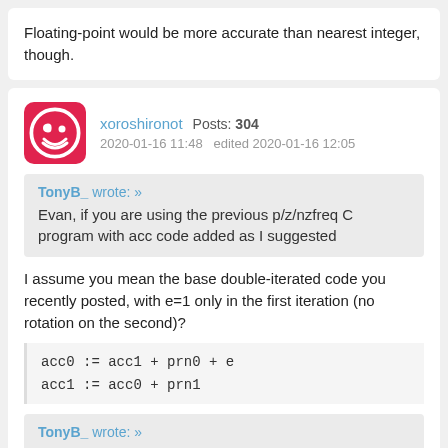Floating-point would be more accurate than nearest integer, though.
xoroshironot  Posts: 304
2020-01-16 11:48   edited 2020-01-16 12:05
TonyB_ wrote: »
Evan, if you are using the previous p/z/nzfreq C program with acc code added as I suggested
I assume you mean the base double-iterated code you recently posted, with e=1 only in the first iteration (no rotation on the second)?
TonyB_ wrote: »
It would be good if we knew how changing initial